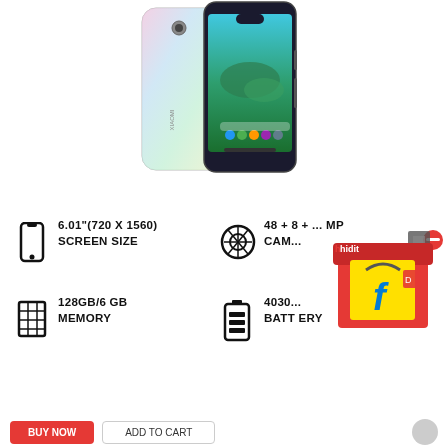[Figure (photo): Xiaomi Mi A3 smartphone in white/moonlight color, showing front and back views with a beach/ocean scene on the screen]
6.01"(720 X 1560) SCREEN SIZE
48 + 8 + ... MP CAMERA
128GB/6 GB MEMORY
4030... BATTERY
[Figure (photo): Digit and Flipkart promotional overlay/badge in the bottom right corner]